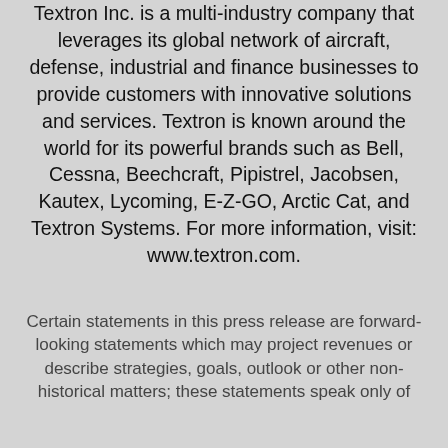Textron Inc. is a multi-industry company that leverages its global network of aircraft, defense, industrial and finance businesses to provide customers with innovative solutions and services. Textron is known around the world for its powerful brands such as Bell, Cessna, Beechcraft, Pipistrel, Jacobsen, Kautex, Lycoming, E-Z-GO, Arctic Cat, and Textron Systems. For more information, visit: www.textron.com.
Certain statements in this press release are forward-looking statements which may project revenues or describe strategies, goals, outlook or other non-historical matters; these statements speak only of